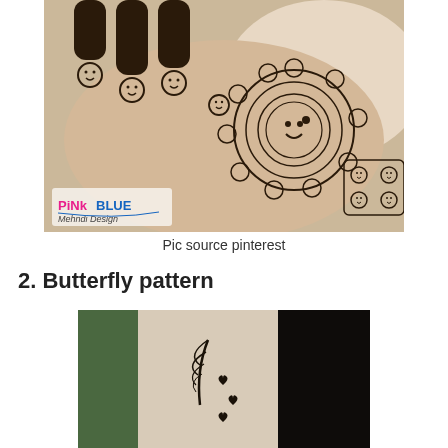[Figure (photo): A hand with intricate henna/mehndi tattoo designs featuring smiley faces on the fingers and a large mandala with smiley face in the palm. Brand watermark 'PiNkBLUE Mehndi Design' visible in lower left of image.]
Pic source pinterest
2. Butterfly pattern
[Figure (photo): A wrist/ankle with small feather and heart tattoo designs in black ink, showing delicate small butterfly or feather pattern with tiny hearts.]